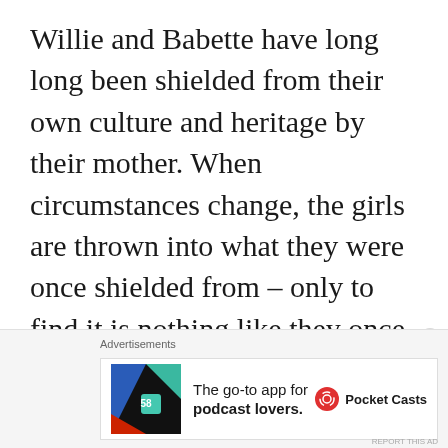Willie and Babette have long long been shielded from their own culture and heritage by their mother. When circumstances change, the girls are thrown into what they were once shielded from – only to find it is nothing like they once believed.
[Figure (other): Advertisement banner: Pocket Casts app ad with logo and text 'The go-to app for podcast lovers.']